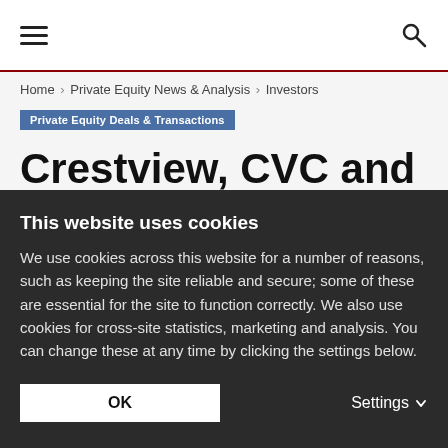☰ [menu icon] | 🔍 [search icon]
Home › Private Equity News & Analysis › Investors
Private Equity Deals & Transactions
Crestview, CVC and Pine Brook invest $650m in Fi...
This website uses cookies
We use cookies across this website for a number of reasons, such as keeping the site reliable and secure; some of these are essential for the site to function correctly. We also use cookies for cross-site statistics, marketing and analysis. You can change these at any time by clicking the settings below.
OK | Settings